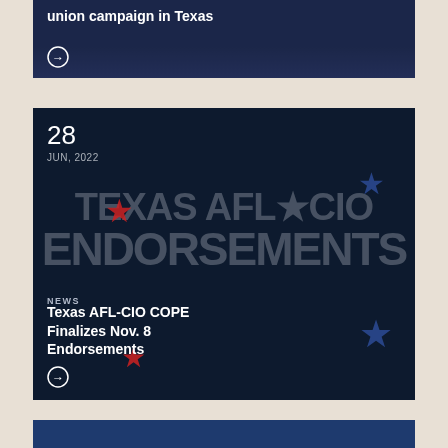[Figure (photo): Dark blue news card with partial title 'union campaign in Texas' and a circular arrow button, showing blurred background of people at a podium]
union campaign in Texas
[Figure (photo): Dark navy news card for Texas AFL-CIO with large background text reading 'TEXAS AFL*CIO ENDORSEMENTS', date 28 JUN, 2022, NEWS label, title 'Texas AFL-CIO COPE Finalizes Nov. 8 Endorsements', and circular arrow button. Red and blue star decorations visible.]
28
JUN, 2022
NEWS
Texas AFL-CIO COPE Finalizes Nov. 8 Endorsements